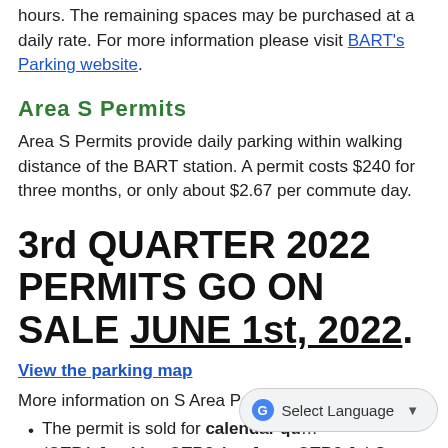hours. The remaining spaces may be purchased at a daily rate. For more information please visit BART's Parking website.
Area S Permits
Area S Permits provide daily parking within walking distance of the BART station. A permit costs $240 for three months, or only about $2.67 per commute day.
3rd QUARTER 2022 PERMITS GO ON SALE JUNE 1st, 2022.
View the parking map
More information on S Area Permits:
The permit is sold for calendar qu... (QTR1:Jan-Mar, QTR2:Apr-June, QTR3:Jul-Sept, QTR4:Oct-Dec).